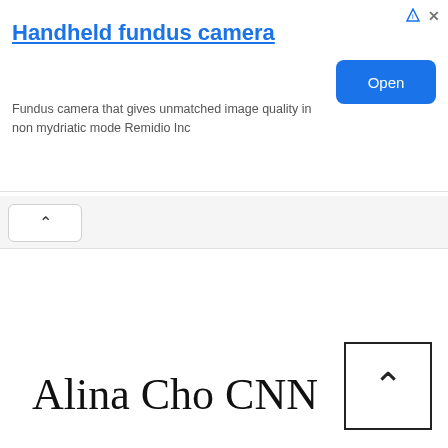[Figure (screenshot): Advertisement banner for Handheld fundus camera by Remidio Inc, with blue 'Open' button]
[Figure (screenshot): Collapse/hide UI button with upward chevron arrow]
Alina Cho CNN
[Figure (other): Scroll-to-top button: a square box with an upward chevron arrow inside]